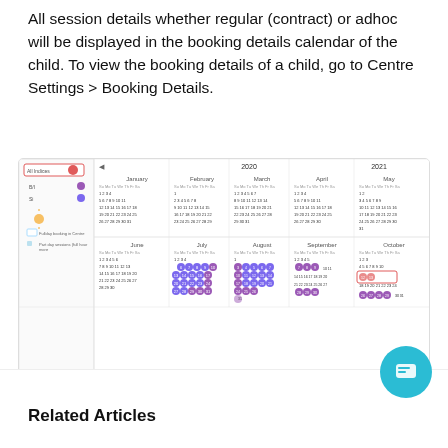All session details whether regular (contract) or adhoc will be displayed in the booking details calendar of the child. To view the booking details of a child, go to Centre Settings > Booking Details.
[Figure (screenshot): Screenshot of a booking details calendar showing months from January 2020 to October 2021 with circular markers on session dates, a sidebar with 'All Indices' dropdown, and legend items.]
Did you find it helpful?  👍 Yes  👎 No
Related Articles